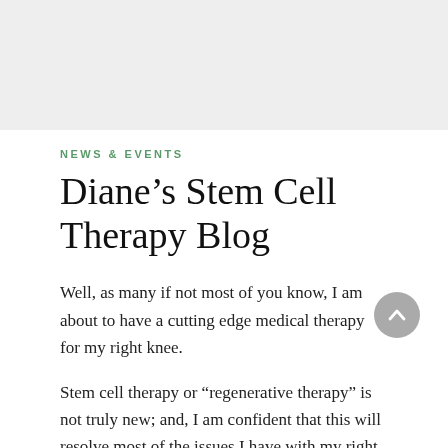[Figure (photo): Gray placeholder image at top of page]
NEWS & EVENTS
Diane's Stem Cell Therapy Blog
Well, as many if not most of you know, I am about to have a cutting edge medical therapy for my right knee.
Stem cell therapy or “regenerative therapy” is not truly new; and, I am confident that this will resolve most of the issues I have with my right